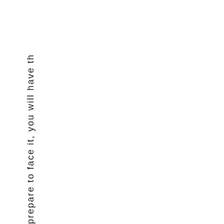prepare to face it, you will have th